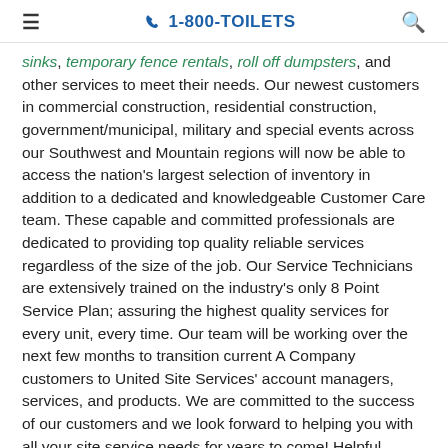☰   📞 1-800-TOILETS   🔍
sinks, temporary fence rentals, roll off dumpsters, and other services to meet their needs. Our newest customers in commercial construction, residential construction, government/municipal, military and special events across our Southwest and Mountain regions will now be able to access the nation's largest selection of inventory in addition to a dedicated and knowledgeable Customer Care team. These capable and committed professionals are dedicated to providing top quality reliable services regardless of the size of the job. Our Service Technicians are extensively trained on the industry's only 8 Point Service Plan; assuring the highest quality services for every unit, every time. Our team will be working over the next few months to transition current A Company customers to United Site Services' account managers, services, and products. We are committed to the success of our customers and we look forward to helping you with all your site service needs for years to come! Helpful Links:
Customer Welcome Letter